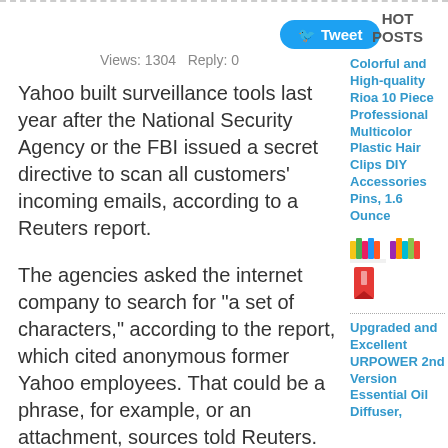[Figure (other): Tweet button with Twitter bird icon]
Views: 1304 Reply: 0
Yahoo built surveillance tools last year after the National Security Agency or the FBI issued a secret directive to scan all customers' incoming emails, according to a Reuters report.
The agencies asked the internet company to search for "a set of characters," according to the report, which cited anonymous former Yahoo employees. That could be a phrase, for example, or an attachment, sources told Reuters.
Yahoo CEO Marissa Mayer chose to obey the directive, Reuters reported, a decision that prompted then-Chief
HOT POSTS
Colorful and High-quality Rioa 10 Piece Professional Multicolor Plastic Hair Clips DIY Accessories Pins, 1.6 Ounce
[Figure (photo): Two small thumbnail images of colorful hair clips]
[Figure (photo): Small thumbnail image of a product (red bookmark/clip)]
Upgraded and Excellent URPOWER 2nd Version Essential Oil Diffuser,